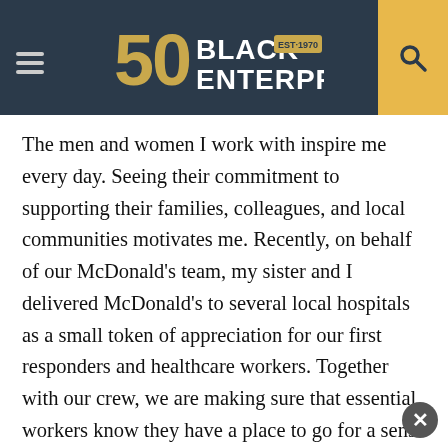Black Enterprise — EST. 1970 (50th anniversary logo)
The men and women I work with inspire me every day. Seeing their commitment to supporting their families, colleagues, and local communities motivates me. Recently, on behalf of our McDonald's team, my sister and I delivered McDonald's to several local hospitals as a small token of appreciation for our first responders and healthcare workers. Together with our crew, we are making sure that essential workers know they have a place to go for a sense of normalcy and a bite to eat served by a familiar face. All our restaurants are honored to provide for first responders and want them to know they can get a free Egg McMuffin® and coffee at our local restaurants or Drive-Thrus. And, if their shifts mean they're going to miss breakfast, they're